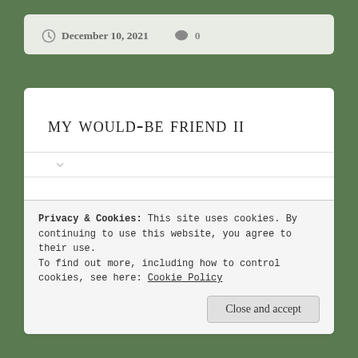December 10, 2021   0
MY WOULD-BE FRIEND II
another journal page in response to the suicide of someone who i felt akin to, but never really reached out to.
Privacy & Cookies: This site uses cookies. By continuing to use this website, you agree to their use.
To find out more, including how to control cookies, see here: Cookie Policy